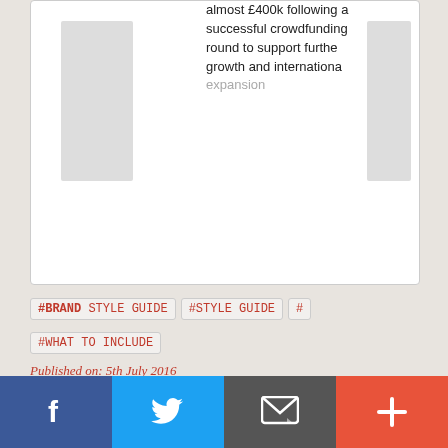[Figure (screenshot): Partial article card showing text: 'almost £400k following a successful crowdfunding round to support further growth and international expansion' with placeholder images on left and right]
#BRAND STYLE GUIDE
#STYLE GUIDE
#
#WHAT TO INCLUDE
Published on: 5th July 2016
If you would like to enable commenting via your Startacus account, please enable Disqus functionality in your Account Settings.
ALSO ON STARTACUS.NET
[Figure (screenshot): Bottom article cards partially visible]
[Figure (screenshot): Social share bar with Facebook, Twitter, Email, and Plus buttons]